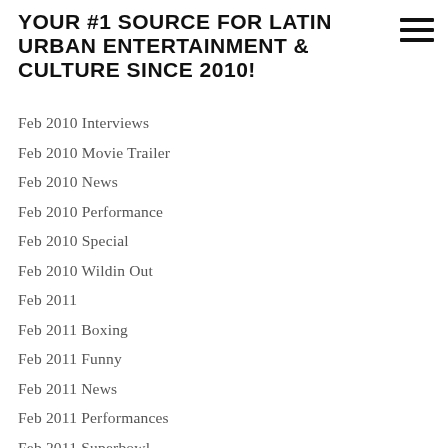YOUR #1 SOURCE FOR LATIN URBAN ENTERTAINMENT & CULTURE SINCE 2010!
Feb 2010 Interviews
Feb 2010 Movie Trailer
Feb 2010 News
Feb 2010 Performance
Feb 2010 Special
Feb 2010 Wildin Out
Feb 2011
Feb 2011 Boxing
Feb 2011 Funny
Feb 2011 News
Feb 2011 Performances
Feb 2011 Superbowl
Feb 2011 Throwback
Feb 2011 Trailers
Feb 2011 Wtf